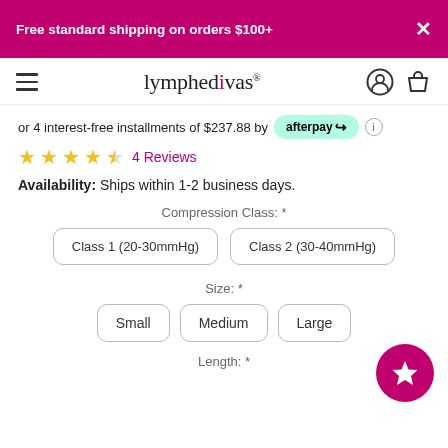Free standard shipping on orders $100+
[Figure (logo): Lymphedivas logo with hamburger menu, user icon, and shopping bag icon]
or 4 interest-free installments of $237.88 by afterpay
4 Reviews
Availability: Ships within 1-2 business days.
Compression Class: *
Class 1 (20-30mmHg)   Class 2 (30-40mmHg)
Size: *
Small   Medium   Large
Length: *